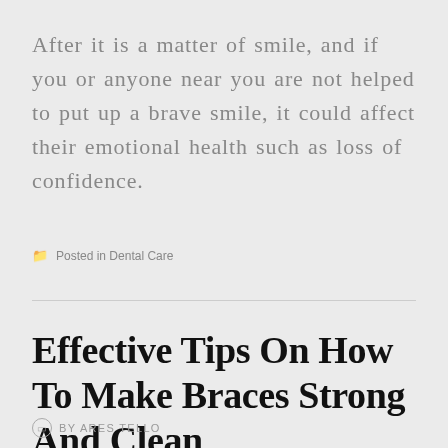After it is a matter of smile, and if you or anyone near you are not helped to put up a brave smile, it could affect their emotional health such as loss of confidence.
Posted in Dental Care
Effective Tips On How To Make Braces Strong And Clean
BY ARES TELLO